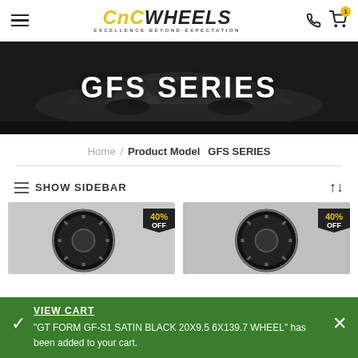CNC WHEELS — EXCELLENCE BEYOND EXPECTATION
GFS SERIES
Home / Product Model GFS SERIES
SHOW SIDEBAR
[Figure (photo): Two partial car wheel product thumbnails with 40% OFF badges]
VIEW CART — "GT FORM GF-S1 SATIN BLACK 20X9.5 6X139.7 WHEEL" has been added to your cart.